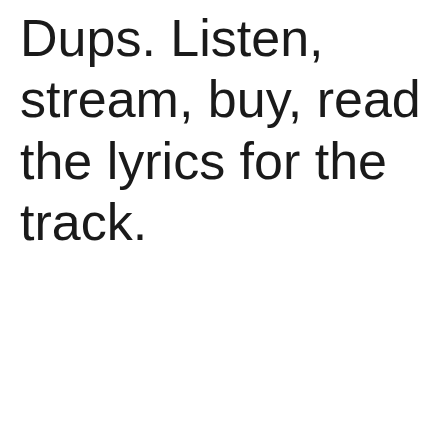Dups. Listen, stream, buy, read the lyrics for the track.